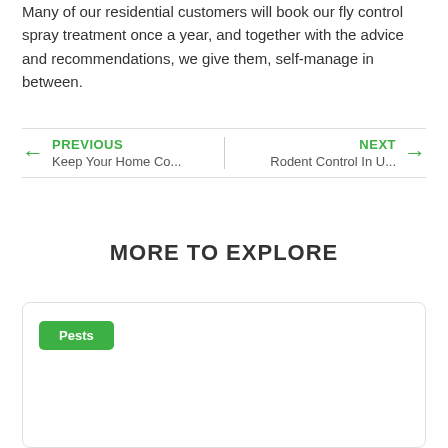Many of our residential customers will book our fly control spray treatment once a year, and together with the advice and recommendations, we give them, self-manage in between.
PREVIOUS Keep Your Home Co... | NEXT Rodent Control In U...
MORE TO EXPLORE
Pests